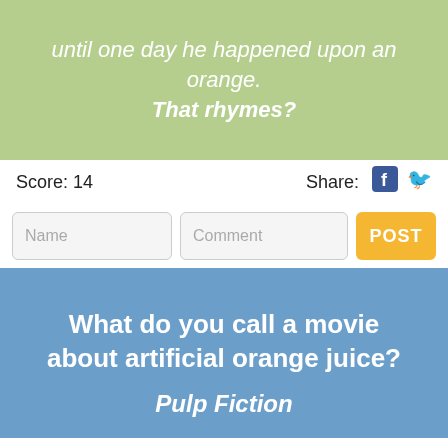until one day he happened upon an orange. That rhymes?
Score: 14
Share:
Name
Comment
POST
What do you call a movie about artificial orange juice?
Pulp Fiction